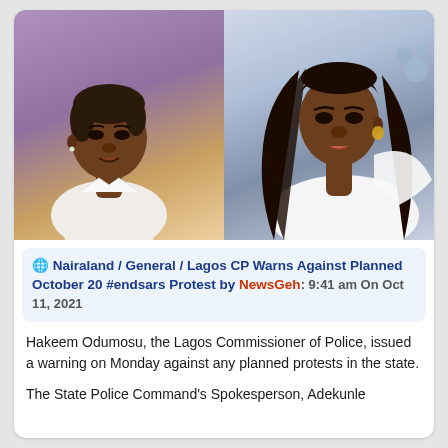[Figure (photo): Two women side by side: left photo shows a woman with short hair in a white top against a purple background (interview setting); right photo shows a woman with long straight black hair in a white dress against a light grey background.]
Nairaland / General / Lagos CP Warns Against Planned October 20 #endsars Protest by NewsGeh: 9:41 am On Oct 11, 2021
Hakeem Odumosu, the Lagos Commissioner of Police, issued a warning on Monday against any planned protests in the state.
The State Police Command's Spokesperson, Adekunle